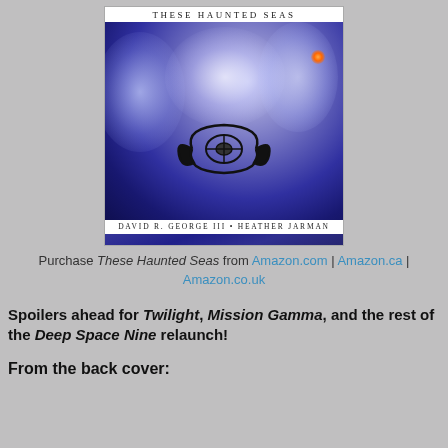[Figure (illustration): Book cover for 'These Haunted Seas' by David R. George III and Heather Jarman. White title bar at top reading 'THESE HAUNTED SEAS', space-themed purple/blue background with multiple faces and a Deep Space Nine station logo in the center, white author bar at bottom reading 'DAVID R. GEORGE III • HEATHER JARMAN'.]
Purchase These Haunted Seas from Amazon.com | Amazon.ca | Amazon.co.uk
Spoilers ahead for Twilight, Mission Gamma, and the rest of the Deep Space Nine relaunch!
From the back cover: